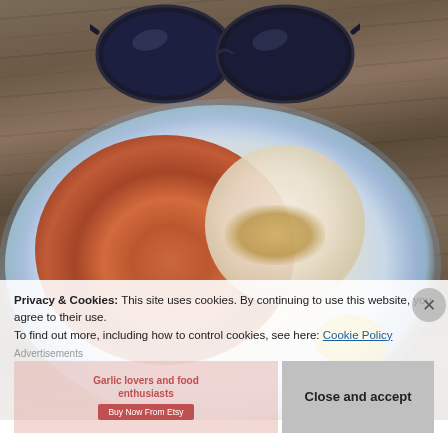[Figure (photo): Overhead photo of a decorative floral plate with garlic shrimp and white rice, with a lemon wedge, placed on a weathered wooden table. Sunglasses visible at the top of the frame.]
Privacy & Cookies: This site uses cookies. By continuing to use this website, you agree to their use.
To find out more, including how to control cookies, see here: Cookie Policy
Advertisements
Close and accept